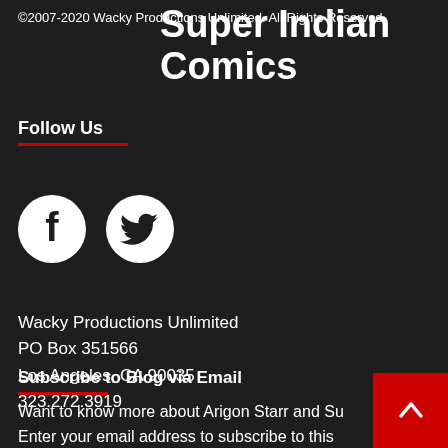©2007-2020 Wacky Productions Unlimited. All Rights Reserved.
Super Indian Comics
Follow Us
[Figure (illustration): Facebook and Twitter social media icons in white on dark background]
Wacky Productions Unlimited
PO Box 351566
Los Angeles, CA 90035
323.272.3919
Subscribe to Blog via Email
Want to know more about Arigon Starr and Super Indian? Enter your email address to subscribe to this